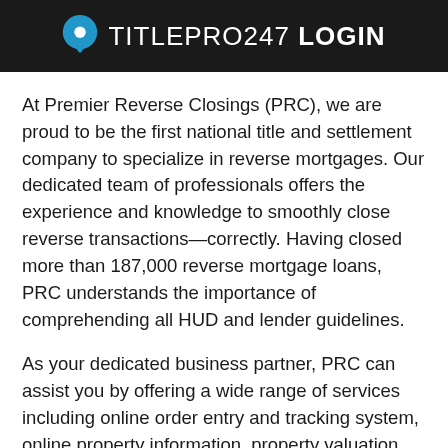TITLEPRO247 LOGIN
At Premier Reverse Closings (PRC), we are proud to be the first national title and settlement company to specialize in reverse mortgages. Our dedicated team of professionals offers the experience and knowledge to smoothly close reverse transactions—correctly. Having closed more than 187,000 reverse mortgage loans, PRC understands the importance of comprehending all HUD and lender guidelines.
As your dedicated business partner, PRC can assist you by offering a wide range of services including online order entry and tracking system, online property information, property valuation, nationwide fee calculator, title updates, informational flyers, educational classes and many other tools. We are committed to our